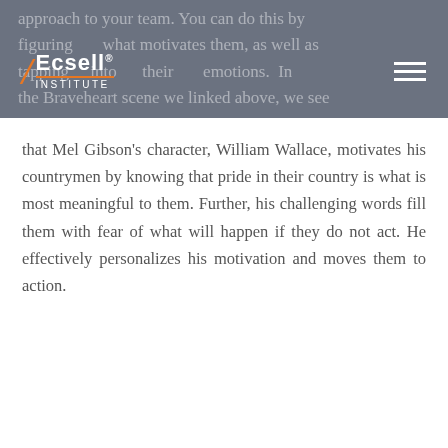approach to your team. You can do this by figuring what motivates them, as well as tapping into their emotions. In the Braveheart scene we linked above, we see
[Figure (logo): Ecsell Institute logo with orange slash and underline on grey background]
that Mel Gibson's character, William Wallace, motivates his countrymen by knowing that pride in their country is what is most meaningful to them. Further, his challenging words fill them with fear of what will happen if they do not act. He effectively personalizes his motivation and moves them to action.